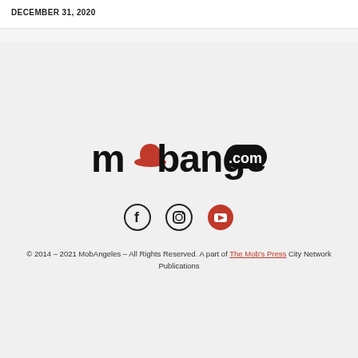DECEMBER 31, 2020
[Figure (logo): mobangeles.com logo with red hat replacing the 'o' in mob, and 'com' in a black rounded rectangle]
[Figure (infographic): Three social media icons: Facebook (f), Instagram (camera), YouTube (play button)]
© 2014 – 2021 MobAngeles – All Rights Reserved. A part of The Mob's Press City Network Publications